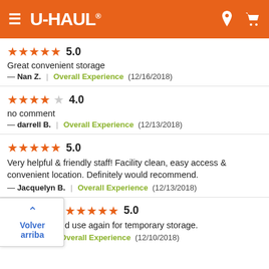U-HAUL
★★★★★ 5.0
Great convenient storage
— Nan Z. | Overall Experience (12/16/2018)
★★★★☆ 4.0
no comment
— darrell B. | Overall Experience (12/13/2018)
★★★★★ 5.0
Very helpful & friendly staff! Facility clean, easy access & convenient location. Definitely would recommend.
— Jacquelyn B. | Overall Experience (12/13/2018)
★★★★★ 5.0
...d use again for temporary storage.
— Sarah L. | Overall Experience (12/10/2018)
Volver arriba